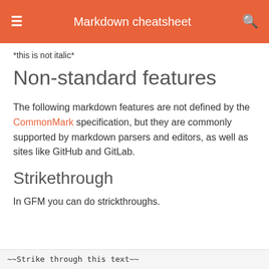Markdown cheatsheet
*this is not italic*
Non-standard features
The following markdown features are not defined by the CommonMark specification, but they are commonly supported by markdown parsers and editors, as well as sites like GitHub and GitLab.
Strikethrough
In GFM you can do strickthroughs.
~~Strike through this text~~